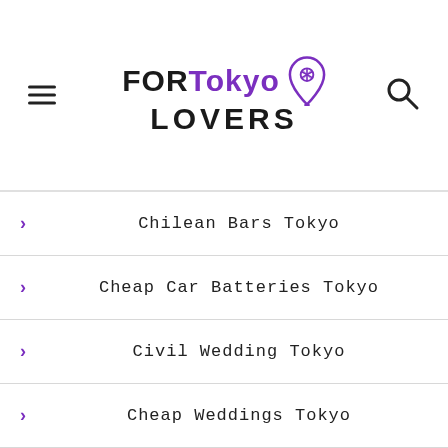FOR Tokyo LOVERS
Chilean Bars Tokyo
Cheap Car Batteries Tokyo
Civil Wedding Tokyo
Cheap Weddings Tokyo
Couple Photo Book Tokyo
Celiac Buffet Tokyo
Chinese Buffet Tokyo
Candy Buffet Tokyo